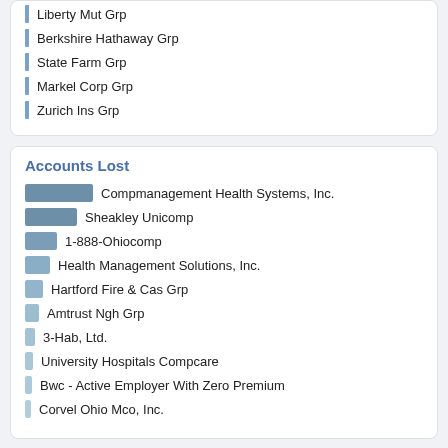Liberty Mut Grp
Berkshire Hathaway Grp
State Farm Grp
Markel Corp Grp
Zurich Ins Grp
Accounts Lost
Compmanagement Health Systems, Inc.
Sheakley Unicomp
1-888-Ohiocomp
Health Management Solutions, Inc.
Hartford Fire & Cas Grp
Amtrust Ngh Grp
3-Hab, Ltd.
University Hospitals Compcare
Bwc - Active Employer With Zero Premium
Corvel Ohio Mco, Inc.